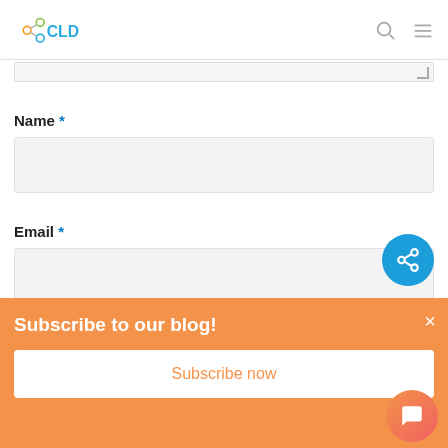CLD logo with navigation icons
Name *
Email *
Subscribe to our blog!
Subscribe now